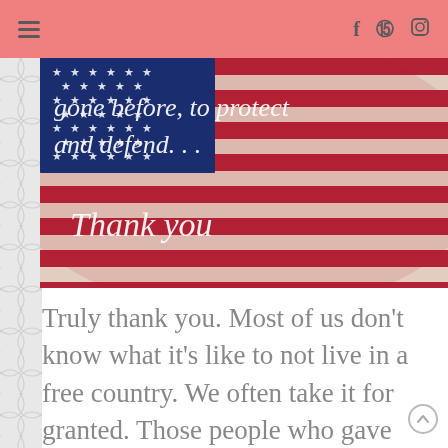Navigation and social icons header
[Figure (illustration): American flag image with white cursive text overlay reading 'gone before, to protect and defend... Thank you']
Truly thank you. Most of us don't know what it's like to not live in a free country. We often take it for granted. Those people who gave their lives frequently so that we could